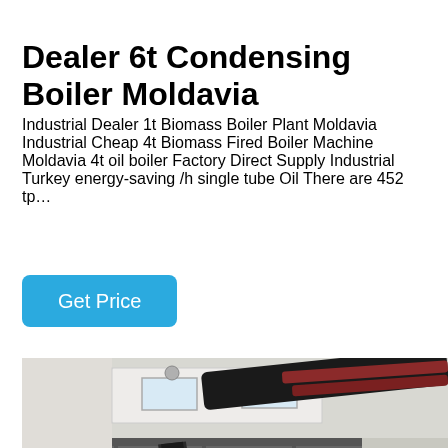Dealer 6t Condensing Boiler Moldavia
Industrial Dealer 1t Biomass Boiler Plant Moldavia Industrial Cheap 4t Biomass Fired Boiler Machine Moldavia 4t oil boiler Factory Direct Supply Industrial Turkey energy-saving /h single tube Oil There are 452 tp…
Get Price
[Figure (photo): Industrial boiler facility interior showing large cylindrical boiler tank, black exhaust pipes, red copper pipes, yellow gas pipes, metal ladder and scaffolding, white industrial building walls with windows]